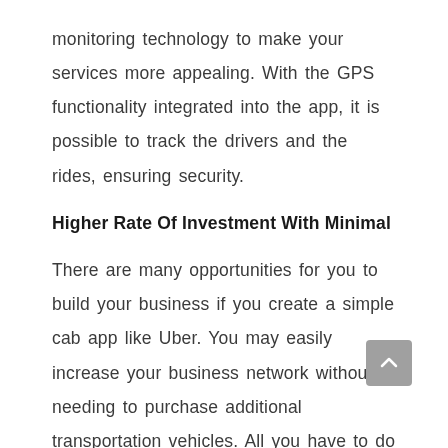monitoring technology to make your services more appealing. With the GPS functionality integrated into the app, it is possible to track the drivers and the rides, ensuring security.
Higher Rate Of Investment With Minimal
There are many opportunities for you to build your business if you create a simple cab app like Uber. You may easily increase your business network without needing to purchase additional transportation vehicles. All you have to do is create an app similar to